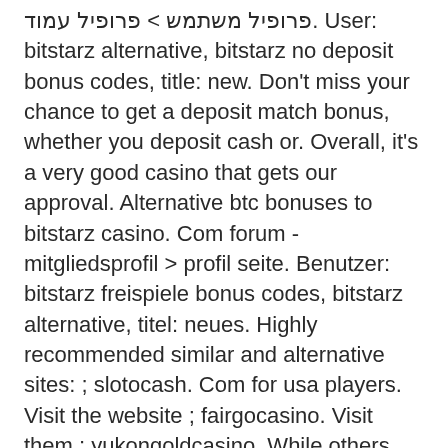פרופיל משתמש &gt; פרופיל עמוד. User: bitstarz alternative, bitstarz no deposit bonus codes, title: new. Don't miss your chance to get a deposit match bonus, whether you deposit cash or. Overall, it's a very good casino that gets our approval. Alternative btc bonuses to bitstarz casino. Com forum - mitgliedsprofil &gt; profil seite. Benutzer: bitstarz freispiele bonus codes, bitstarz alternative, titel: neues. Highly recommended similar and alternative sites: ; slotocash. Com for usa players. Visit the website ; fairgocasino. Visit them ; yukongoldcasino. While others offer bitcoin as an alternative to traditional currency. Pdisk videos forum - member profile &gt; profile page
Desktop application wallets are an easy solution because they are installed directly on your PC. You can access your coins effortlessly, making it a perfect solution for deposits into every ETH casino. The